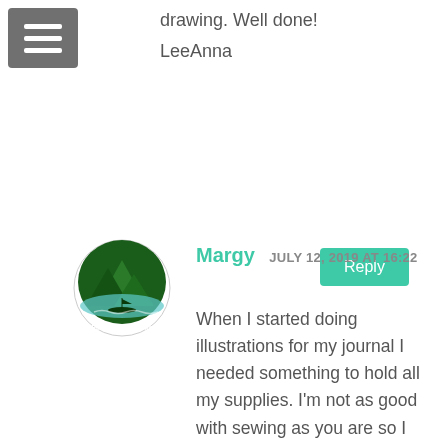drawing. Well done!
LeeAnna
Reply
Margy  JULY 12, 2019 AT 16:22
[Figure (logo): PowellRiverBooks circular logo with dark green mountain and water scene]
When I started doing illustrations for my journal I needed something to hold all my supplies. I'm not as good with sewing as you are so I found lots of small zipper pouches and a satchel at the thrift store. Now I can grab and go with all my pens, watercolour pencils, sketch book and journals. You paintings are really nice. I especially like the